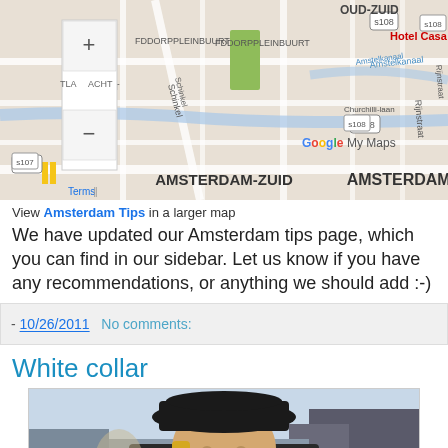[Figure (map): Google My Maps showing Amsterdam-Zuid area with streets, Oud-Zuid, Hotel Casa Amsterdam label, zoom controls, and Google Maps branding]
View Amsterdam Tips in a larger map
We have updated our Amsterdam tips page, which you can find in our sidebar. Let us know if you have any recommendations, or anything we should add :-)
- 10/26/2011   No comments:
White collar
[Figure (photo): Photo of a person wearing a black hat with blonde hair, outdoors on a street]